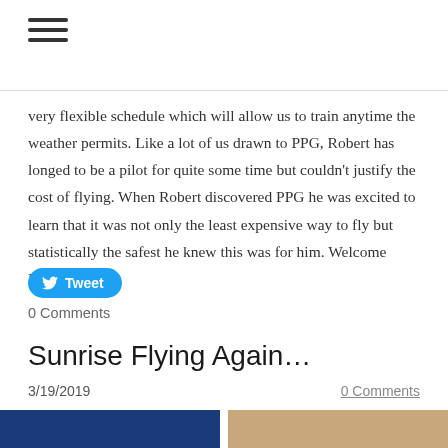[Figure (other): Hamburger menu icon (three horizontal lines)]
very flexible schedule which will allow us to train anytime the weather permits. Like a lot of us drawn to PPG, Robert has longed to be a pilot for quite some time but couldn't justify the cost of flying. When Robert discovered PPG he was excited to learn that it was not only the least expensive way to fly but statistically the safest he knew this was for him. Welcome Robert!
[Figure (other): Twitter Tweet button (blue rounded rectangle with bird icon and 'Tweet' text)]
0 Comments
Sunrise Flying Again…
3/19/2019
0 Comments
[Figure (photo): Two partial images at bottom: left is dark blue, right is tan/brown]